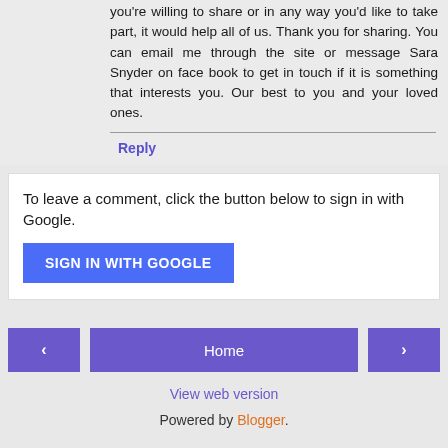you're willing to share or in any way you'd like to take part, it would help all of us. Thank you for sharing. You can email me through the site or message Sara Snyder on face book to get in touch if it is something that interests you. Our best to you and your loved ones.
Reply
To leave a comment, click the button below to sign in with Google.
SIGN IN WITH GOOGLE
Home | View web version | Powered by Blogger.